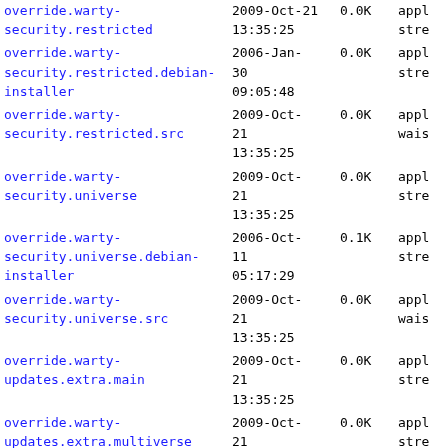| Name | Date | Size | Type |
| --- | --- | --- | --- |
| override.warty-security.restricted | 2009-Oct-21
13:35:25 | 0.0K | appl
stre |
| override.warty-security.restricted.debian-installer | 2006-Jan-30
09:05:48 | 0.0K | appl
stre |
| override.warty-security.restricted.src | 2009-Oct-21
13:35:25 | 0.0K | appl
wais |
| override.warty-security.universe | 2009-Oct-21
13:35:25 | 0.0K | appl
stre |
| override.warty-security.universe.debian-installer | 2006-Oct-11
05:17:29 | 0.1K | appl
stre |
| override.warty-security.universe.src | 2009-Oct-21
13:35:25 | 0.0K | appl
wais |
| override.warty-updates.extra.main | 2009-Oct-21
13:35:25 | 0.0K | appl
stre |
| override.warty-updates.extra.multiverse | 2009-Oct-21
13:35:25 | 0.0K | appl
stre |
| override.warty-updates.extra.restricted | 2009-Oct-21
13:35:25 | 0.0K | appl
stre |
| override.warty-updates.extra.universe | 2009-Oct-21
13:35:25 | 0.0K | appl
stre |
| override.warty-updates.main | 2009-Oct-21
13:35:25 | 0.0K | appl
stre |